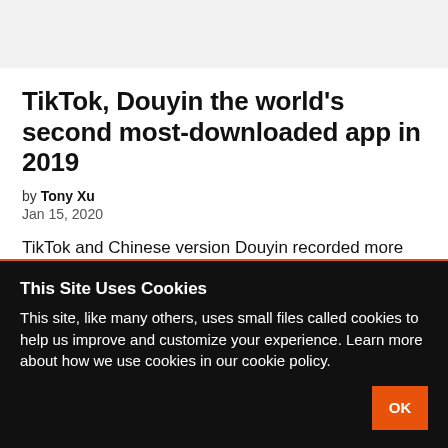TikTok, Douyin the world's second most-downloaded app in 2019
by Tony Xu
Jan 15, 2020
TikTok and Chinese version Douyin recorded more than 738 million downloads in 2019 across Apple's App Store and Google Play in 2019
This Site Uses Cookies
This site, like many others, uses small files called cookies to help us improve and customize your experience. Learn more about how we use cookies in our cookie policy.
OK